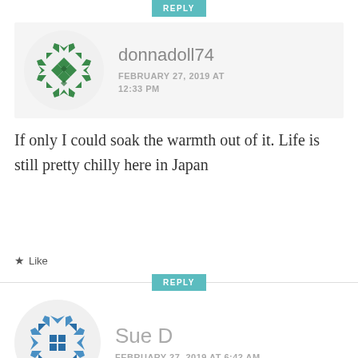REPLY
[Figure (illustration): Green geometric quilt-pattern avatar for user donnadoll74]
donnadoll74
FEBRUARY 27, 2019 AT 12:33 PM
If only I could soak the warmth out of it. Life is still pretty chilly here in Japan
Like
REPLY
[Figure (illustration): Blue geometric quilt-pattern avatar for user Sue D]
Sue D
FEBRUARY 27, 2019 AT 6:42 AM